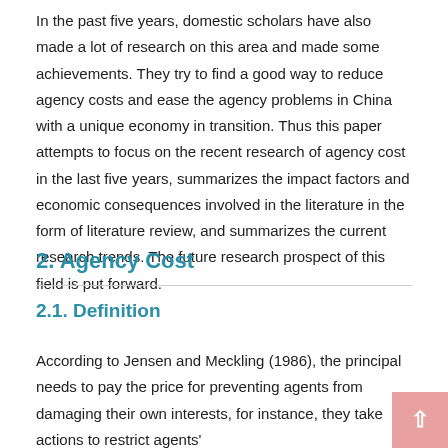In the past five years, domestic scholars have also made a lot of research on this area and made some achievements. They try to find a good way to reduce agency costs and ease the agency problems in China with a unique economy in transition. Thus this paper attempts to focus on the recent research of agency cost in the last five years, summarizes the impact factors and economic consequences involved in the literature in the form of literature review, and summarizes the current research trends. The future research prospect of this field is put forward.
2. Agency Cost
2.1. Definition
According to Jensen and Meckling (1986), the principal needs to pay the price for preventing agents from damaging their own interests, for instance, they take actions to restrict agents'